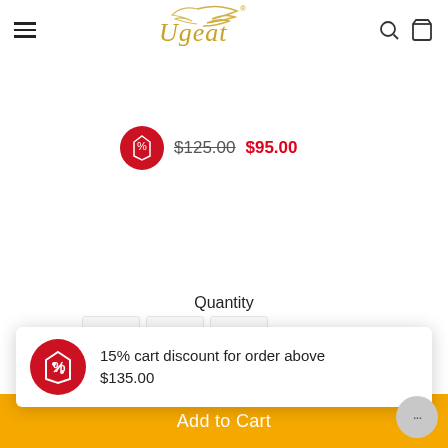[Figure (logo): Ugeat brand logo in gold italic script with decorative wing/feather element and registered trademark symbol]
$125.00 $95.00
Quantity
15% cart discount for order above $135.00
Add to Cart